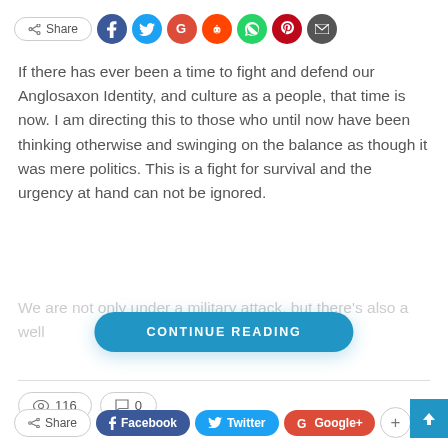[Figure (other): Social share bar with Share button and social media icons: Facebook (blue), Twitter (light blue), Google+ (red), Reddit (orange), WhatsApp (green), Pinterest (dark red), Email (dark gray)]
If there has ever been a time to fight and defend our Anglosaxon Identity, and culture as a people, that time is now. I am directing this to those who until now have been thinking otherwise and swinging on the balance as though it was mere politics. This is a fight for survival and the urgency at hand can not be ignored.
We are not only under a military attack, but there's also a well
[Figure (other): Blue rounded rectangle button with white text reading CONTINUE READING]
116   0
[Figure (other): Bottom share bar with Share button, Facebook pill (dark blue), Twitter pill (light blue), Google+ pill (red), and a plus/more button. Scroll-to-top arrow button in blue at far right.]